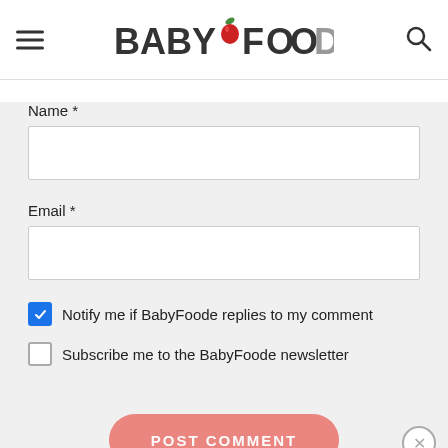Baby Foodie
Name *
Email *
Notify me if BabyFoode replies to my comment
Subscribe me to the BabyFoode newsletter
POST COMMENT